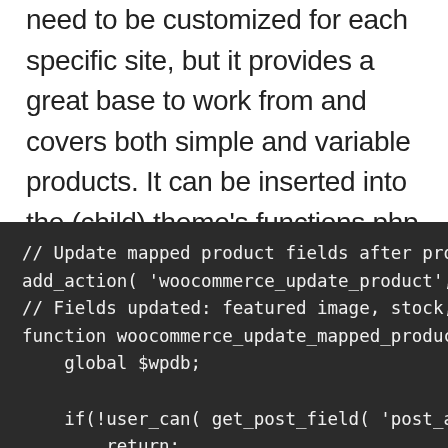need to be customized for each specific site, but it provides a great base to work from and covers both simple and variable products. It can be inserted into the (child) theme's functions.php file or could potentially be used to create a standalone plugin.
// Update mapped product fields after product
add_action( 'woocommerce_update_product', 'woo
// Fields updated: featured image, stock, pri
function woocommerce_update_mapped_product_sy
    global $wpdb;

    if(!user_can( get_post_field( 'post_autho
        return;
    }
    $has_product_map_id = get_post_meta($prod